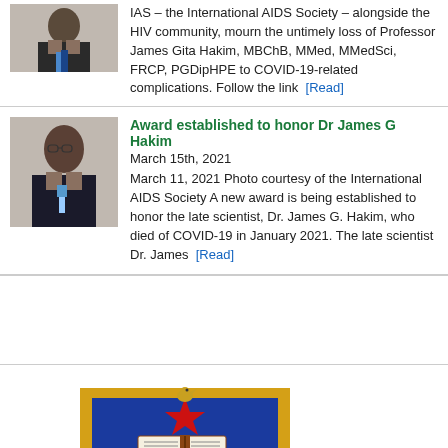[Figure (photo): Portrait photo of a man in a suit (Professor James Gita Hakim)]
IAS – the International AIDS Society – alongside the HIV community, mourn the untimely loss of Professor James Gita Hakim, MBChB, MMed, MMedSci, FRCP, PGDipHPE to COVID-19-related complications. Follow the link [Read]
Award established to honor Dr James G Hakim
March 15th, 2021
[Figure (photo): Portrait photo of Dr. James G. Hakim in a suit and tie]
March 11, 2021 Photo courtesy of the International AIDS Society A new award is being established to honor the late scientist, Dr. James G. Hakim, who died of COVID-19 in January 2021. The late scientist Dr. James [Read]
[Figure (logo): University crest/shield logo with a blue shield, gold border, open book, bird on a star, and banner at the bottom reading INTE...NCE]